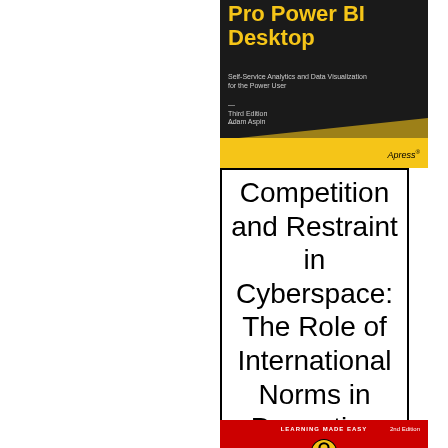[Figure (illustration): Book cover: Pro Power BI Desktop, Third Edition by Adam Aspin. Black background with yellow title text, Apress publisher logo, yellow diagonal bar at bottom.]
[Figure (illustration): Book cover (white with black border): Competition and Restraint in Cyberspace: The Role of International Norms in Promoting U.S. Cybersecurity]
[Figure (illustration): Book cover: Arduino For Dummies, 2nd Edition. Red and black cover with Dummies brand logo and Arduino title text in white.]